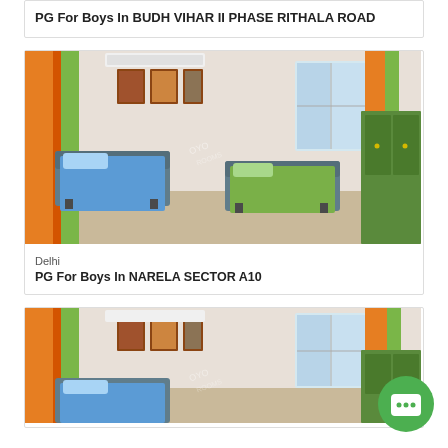PG For Boys In BUDH VIHAR II PHASE RITHALA ROAD
[Figure (photo): Interior photo of a PG room with two single beds with blue and green bedding, orange and green curtains, framed artwork on wall, air conditioning unit, and a green wardrobe]
Delhi
PG For Boys In NARELA SECTOR A10
[Figure (photo): Second interior photo of a similar PG room with orange and green curtains, framed artwork, air conditioning, and green wardrobe visible]
[Figure (other): Green circular chat/support button with white chat icon]